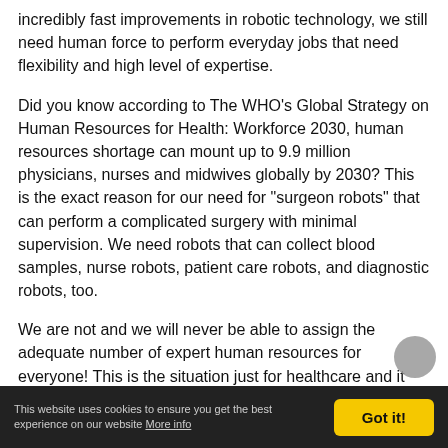incredibly fast improvements in robotic technology, we still need human force to perform everyday jobs that need flexibility and high level of expertise.
Did you know according to The WHO’s Global Strategy on Human Resources for Health: Workforce 2030, human resources shortage can mount up to 9.9 million physicians, nurses and midwives globally by 2030? This is the exact reason for our need for "surgeon robots" that can perform a complicated surgery with minimal supervision. We need robots that can collect blood samples, nurse robots, patient care robots, and diagnostic robots, too.
We are not and we will never be able to assign the adequate number of expert human resources for everyone! This is the situation just for healthcare and it might be the same for numerous other industries. But how we will achieve such solution?
This website uses cookies to ensure you get the best experience on our website More info